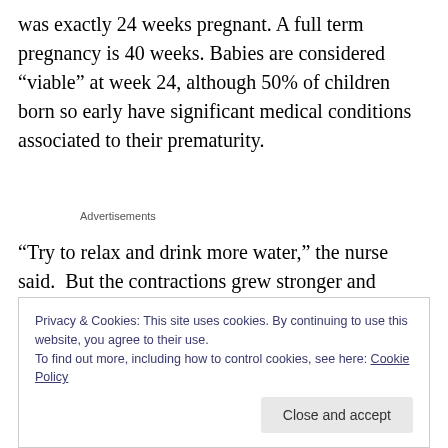was exactly 24 weeks pregnant. A full term pregnancy is 40 weeks. Babies are considered “viable” at week 24, although 50% of children born so early have significant medical conditions associated to their prematurity.
Advertisements
“Try to relax and drink more water,” the nurse said.  But the contractions grew stronger and closer, unstoppable as a tide.  A couple hours later, they were coming every three
Privacy & Cookies: This site uses cookies. By continuing to use this website, you agree to their use.
To find out more, including how to control cookies, see here: Cookie Policy
Close and accept